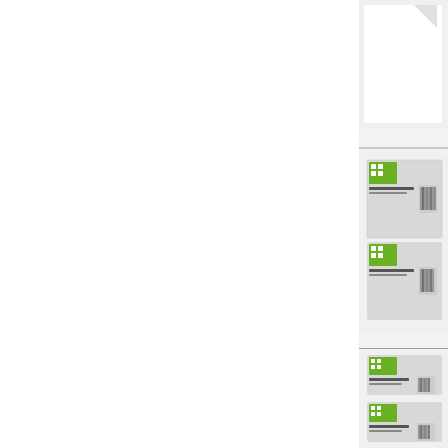[Figure (photo): Partial view of a white document page with a vertical gray dividing line around x=460. The right edge of the page shows product packaging images (CyberLink branded boxes/cards) arranged vertically with horizontal gray separator lines between groups. There are three groups visible: a partial white card at top, then two groups of stacked product box images showing green CyberLink logos.]
[Figure (photo): Top-right: partial white card/document clipped at edge.]
[Figure (photo): Middle-right: two stacked CyberLink product packages with green logo icons visible, gray barcode areas, clipped at right edge.]
[Figure (photo): Lower-right: two stacked CyberLink product packages similar to middle group, with green logo icons, clipped at right edge.]